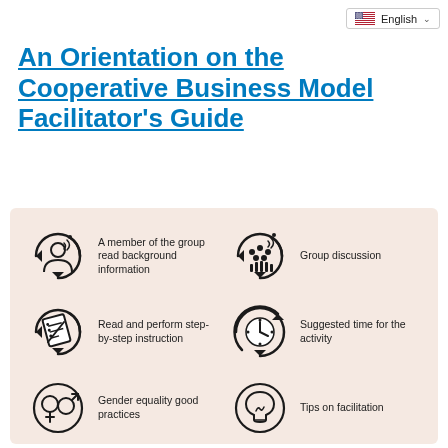English
An Orientation on the Cooperative Business Model Facilitator's Guide
[Figure (infographic): Six icons in a 2x3 grid on a beige background, each with a circular arrow motif and a label: 'A member of the group read background information', 'Group discussion', 'Read and perform step-by-step instruction', 'Suggested time for the activity', 'Gender equality good practices', 'Tips on facilitation']